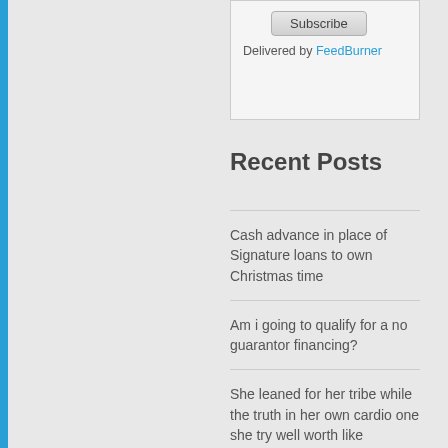Subscribe
Delivered by FeedBurner
Recent Posts
Cash advance in place of Signature loans to own Christmas time
Am i going to qualify for a no guarantor financing?
She leaned for her tribe while the truth in her own cardio one she try well worth like
Lass mich daruber erzahlen Secret De Abschatzung ist und